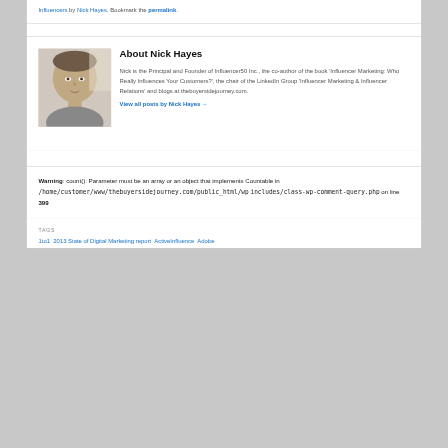Influencers by Nick Hayes. Bookmark the permalink.
[Figure (photo): Headshot photo of Nick Hayes, a man facing forward with light background]
About Nick Hayes
Nick is the Principal and Founder of Influencer50 Inc., the co-author of the book 'Influencer Marketing: Who Really Influences Your Customers?', the chair of the LinkedIn Group 'Influencer Marketing & Influencer Relations' and blogs at thebuyersidejourney.com.
View all posts by Nick Hayes →
Warning: count(): Parameter must be an array or an object that implements Countable in /home/customer/www/thebuyersidejourney.com/public_html/wp includes/class-wp-comment-query.php on line 399
TAGS
1to1 2013 State of Digital Marketing report ActiveInfluence Adobe